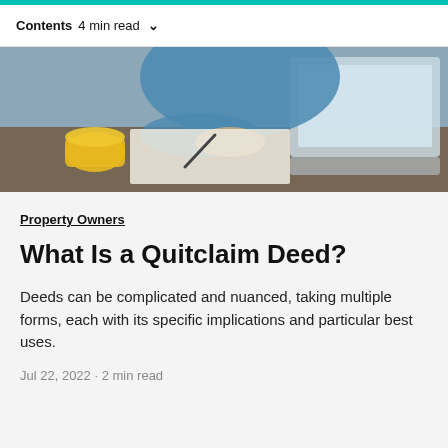Contents  4 min read  ∨
[Figure (photo): Person in blue denim shirt writing on paper at a desk with a yellow mug and laptop open in front of them.]
Property Owners
What Is a Quitclaim Deed?
Deeds can be complicated and nuanced, taking multiple forms, each with its specific implications and particular best uses.
Jul 22, 2022 · 2 min read